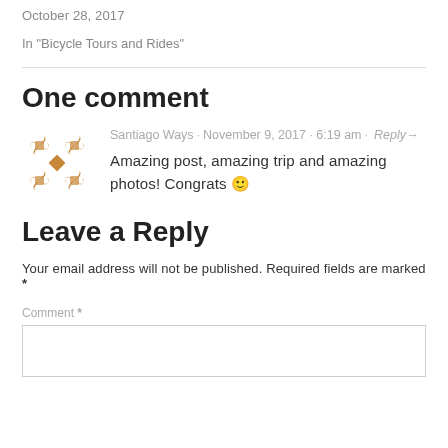October 28, 2017
In "Bicycle Tours and Rides"
One comment
Santiago Ways · November 9, 2017 · 6:19 am · Reply→
Amazing post, amazing trip and amazing photos! Congrats 🙂
Leave a Reply
Your email address will not be published. Required fields are marked *
Comment *